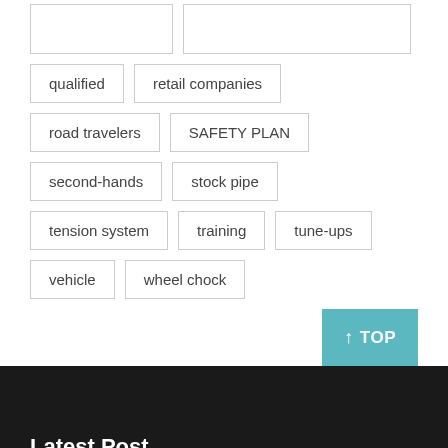qualified
retail companies
road travelers
SAFETY PLAN
second-hands
stock pipe
tension system
training
tune-ups
vehicle
wheel chock
Latest Post